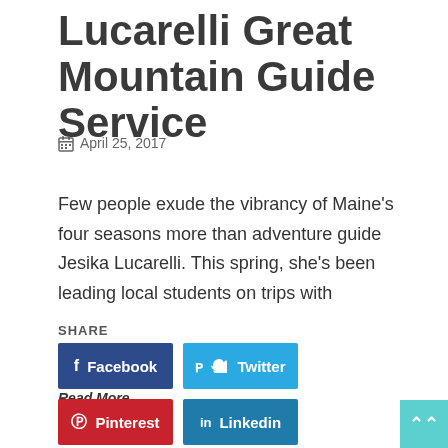Lucarelli Great Mountain Guide Service
April 25, 2017
Few people exude the vibrancy of Maine's four seasons more than adventure guide Jesika Lucarelli. This spring, she's been leading local students on trips with
Read More
SHARE
Facebook
Twitter
Pinterest
Linkedin